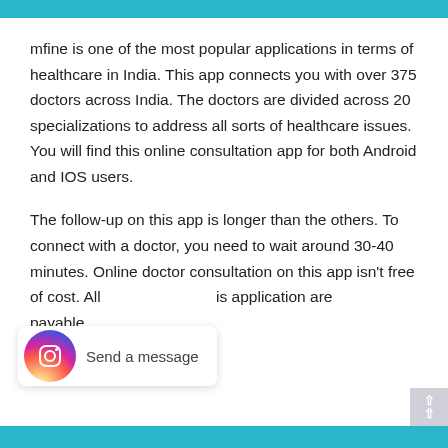[Figure (photo): Partial top strip of a healthcare-related image in teal/cyan color]
mfine is one of the most popular applications in terms of healthcare in India. This app connects you with over 375 doctors across India. The doctors are divided across 20 specializations to address all sorts of healthcare issues. You will find this online consultation app for both Android and IOS users.
The follow-up on this app is longer than the others. To connect with a doctor, you need to wait around 30-40 minutes. Online doctor consultation on this app isn't free of cost. All services on this application are payable.